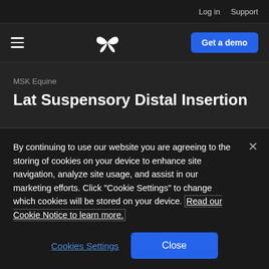Log in   Support
[Figure (logo): Butterfly Network logo - white butterfly/wing icon, hamburger menu icon on left, Get a demo blue button on right]
MSK Equine
Lat Suspensory Distal Insertion
By continuing to use our website you are agreeing to the storing of cookies on your device to enhance site navigation, analyze site usage, and assist in our marketing efforts. Click "Cookie Settings" to change which cookies will be stored on your device. Read our Cookie Notice to learn more.
Cookies Settings   Close